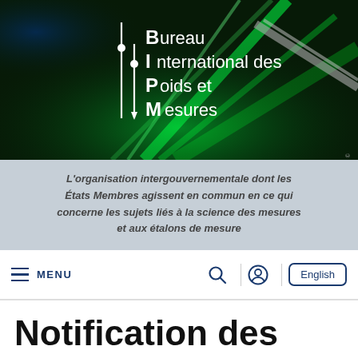[Figure (photo): BIPM (Bureau International des Poids et Mesures) header banner with dark green laser-lit background and white logo text showing B, I, P, M with vertical bar and dot decorations]
L'organisation intergouvernementale dont les États Membres agissent en commun en ce qui concerne les sujets liés à la science des mesures et aux étalons de mesure
MENU | Search | User | English
Notification des